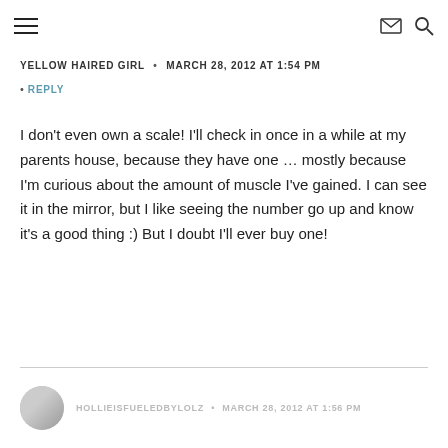Navigation and search icons
YELLOW HAIRED GIRL • MARCH 28, 2012 AT 1:54 PM
REPLY
I don't even own a scale! I'll check in once in a while at my parents house, because they have one … mostly because I'm curious about the amount of muscle I've gained. I can see it in the mirror, but I like seeing the number go up and know it's a good thing :) But I doubt I'll ever buy one!
HOLLIEISFUELEDBYLOLZ • MARCH 28, 2012 AT 1:56 PM